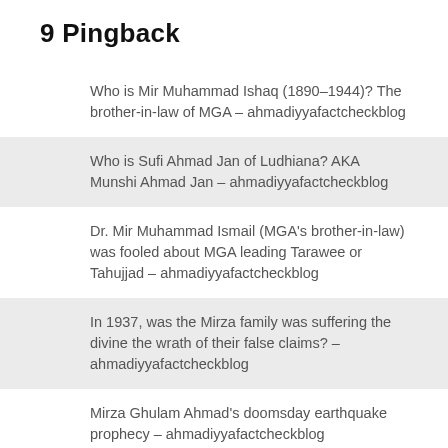9 Pingback
Who is Mir Muhammad Ishaq (1890–1944)? The brother-in-law of MGA – ahmadiyyafactcheckblog
Who is Sufi Ahmad Jan of Ludhiana? AKA Munshi Ahmad Jan – ahmadiyyafactcheckblog
Dr. Mir Muhammad Ismail (MGA's brother-in-law) was fooled about MGA leading Tarawee or Tahujjad – ahmadiyyafactcheckblog
In 1937, was the Mirza family was suffering the divine the wrath of their false claims? – ahmadiyyafactcheckblog
Mirza Ghulam Ahmad's doomsday earthquake prophecy – ahmadiyyafactcheckblog